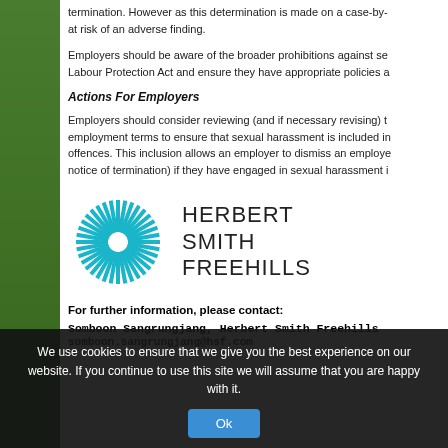termination. However as this determination is made on a case-by-case basis, employers are at risk of an adverse finding.
Employers should be aware of the broader prohibitions against sexual harassment in the Labour Protection Act and ensure they have appropriate policies and procedures in place.
Actions For Employers
Employers should consider reviewing (and if necessary revising) their contracts of employment terms to ensure that sexual harassment is included in the list of summary dismissal offences. This inclusion allows an employer to dismiss an employee summarily (without notice of termination) if they have engaged in sexual harassment in the workplace.
[Figure (logo): Herbert Smith Freehills logo — circular sunburst/wheel in teal/blue and the text HERBERT SMITH FREEHILLS]
For further information, please contact:
Somboon Sangrungjang, Herbert Smith Freehills
somboon.sangrungjang@hsf.com
We use cookies to ensure that we give you the best experience on our website. If you continue to use this site we will assume that you are happy with it.